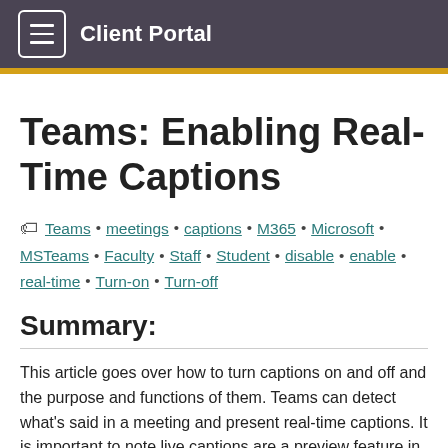Client Portal
Teams: Enabling Real-Time Captions
Teams • meetings • captions • M365 • Microsoft • MSTeams • Faculty • Staff • Student • disable • enable • real-time • Turn-on • Turn-off
Summary:
This article goes over how to turn captions on and off and the purpose and functions of them. Teams can detect what's said in a meeting and present real-time captions. It is important to note live captions are a preview feature in Microsoft Teams, only available in English for now.